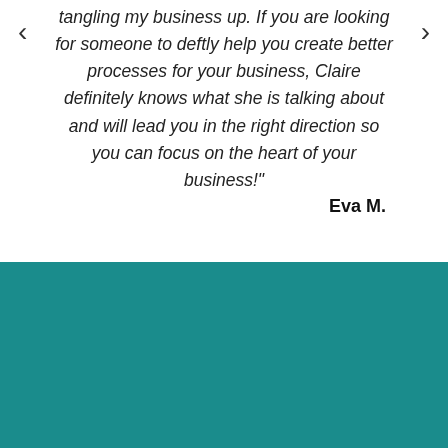tangling my business up. If you are looking for someone to deftly help you create better processes for your business, Claire definitely knows what she is talking about and will lead you in the right direction so you can focus on the heart of your business!"
Eva M.
Want a FREE Healthy Mind Platter Assessment PDF to determine how well you're